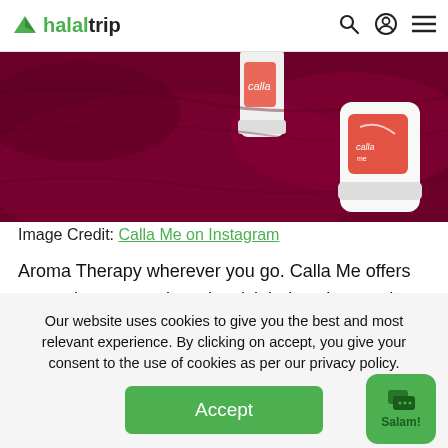halaltrip
[Figure (photo): Product photo showing Calla Me aromatherapy stick balm containers on a dark red/maroon fabric background]
Image Credit: Calla Me on Instagram
Aroma Therapy wherever you go. Calla Me offers aromatherapy products in stick balms, just apply them to your skin, and voila! The best thing about their stick
Our website uses cookies to give you the best and most relevant experience. By clicking on accept, you give your consent to the use of cookies as per our privacy policy.